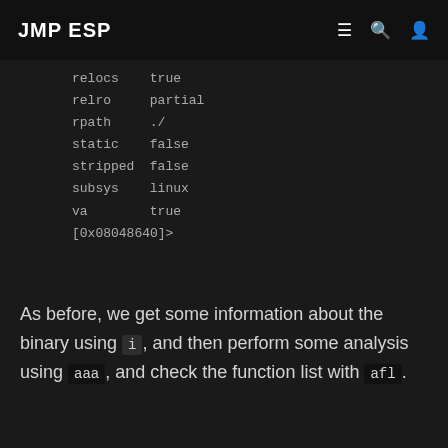JMP ESP
relocs   true
relro    partial
rpath    ./
static   false
stripped false
subsys   linux
va       true
[0x08048640]>
As before, we get some information about the binary using i , and then perform some analysis using aaa , and check the function list with afl .